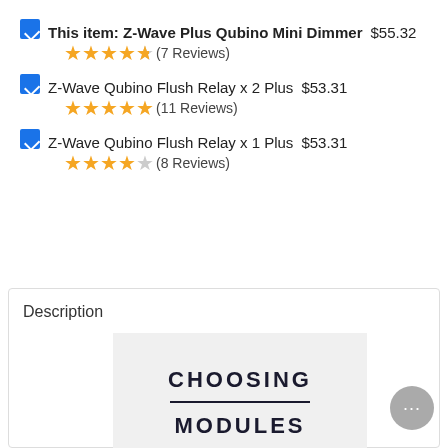This item: Z-Wave Plus Qubino Mini Dimmer $55.32 ★★★★★(7 Reviews)
Z-Wave Qubino Flush Relay x 2 Plus $53.31 ★★★★★(11 Reviews)
Z-Wave Qubino Flush Relay x 1 Plus $53.31 ★★★★☆(8 Reviews)
Description
[Figure (illustration): Promotional image with text CHOOSING MODULES on a light gray background]